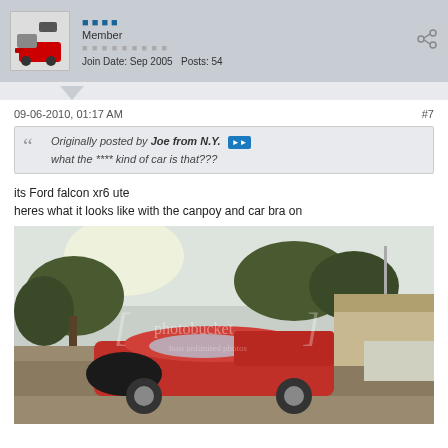Member
Join Date: Sep 2005   Posts: 54
09-06-2010, 01:17 AM
#7
Originally posted by Joe from N.Y.
what the **** kind of car is that???
its Ford falcon xr6 ute
heres what it looks like with the canpoy and car bra on
[Figure (photo): Red Ford Falcon XR6 ute with canopy and car bra, parked on a suburban street with trees in background. Photobucket watermark visible.]